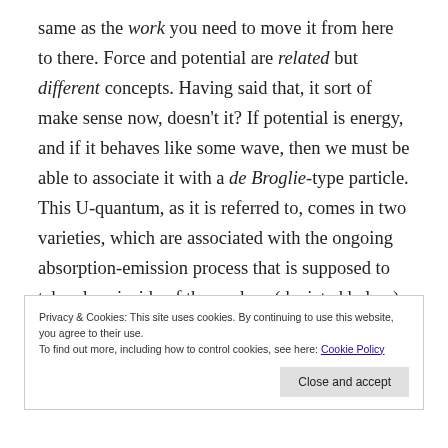same as the work you need to move it from here to there. Force and potential are related but different concepts. Having said that, it sort of make sense now, doesn't it? If potential is energy, and if it behaves like some wave, then we must be able to associate it with a de Broglie-type particle. This U-quantum, as it is referred to, comes in two varieties, which are associated with the ongoing absorption-emission process that is supposed to take place inside of the nucleus (depicted below):
Privacy & Cookies: This site uses cookies. By continuing to use this website, you agree to their use. To find out more, including how to control cookies, see here: Cookie Policy